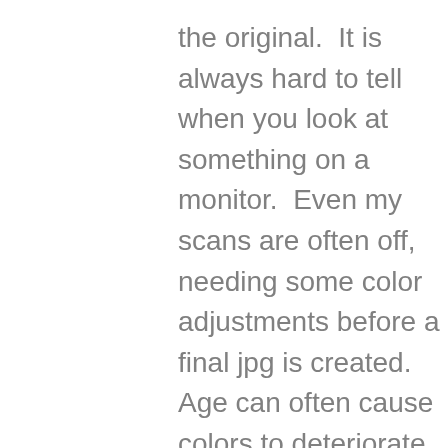the original.  It is always hard to tell when you look at something on a monitor.  Even my scans are often off, needing some color adjustments before a final jpg is created.  Age can often cause colors to deteriorate in oils, too, as the varnish yellows and dims the original.

What really attracted me in Signac's work below were the lavenders, greens, and blues.  So